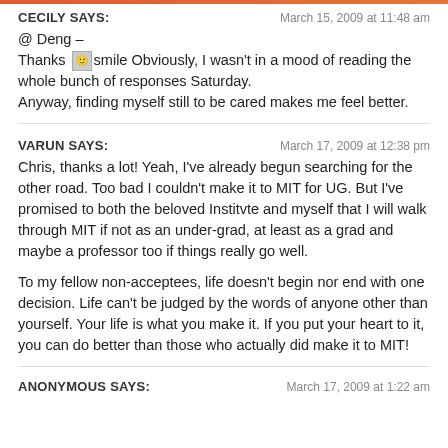CECILY SAYS:    March 15, 2009 at 11:48 am
@ Deng –
Thanks [smile] Obviously, I wasn't in a mood of reading the whole bunch of responses Saturday.
Anyway, finding myself still to be cared makes me feel better.
VARUN SAYS:    March 17, 2009 at 12:38 pm
Chris, thanks a lot! Yeah, I've already begun searching for the other road. Too bad I couldn't make it to MIT for UG. But I've promised to both the beloved Institvte and myself that I will walk through MIT if not as an under-grad, at least as a grad and maybe a professor too if things really go well.

To my fellow non-acceptees, life doesn't begin nor end with one decision. Life can't be judged by the words of anyone other than yourself. Your life is what you make it. If you put your heart to it, you can do better than those who actually did make it to MIT!
ANONYMOUS SAYS:    March 17, 2009 at 1:22 am